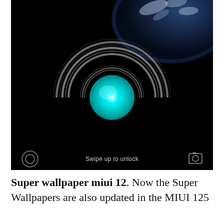[Figure (screenshot): MIUI 12 lock screen screenshot showing a dark background with Earth visible at top right, a circular glowing cyan orb in the center surrounded by concentric arc rings forming a horseshoe/Omega shape in dark metallic style. Bottom of screen shows 'Swipe up to unlock' text with camera and flashlight icons.]
Super wallpaper miui 12. Now the Super Wallpapers are also updated in the MIUI 125